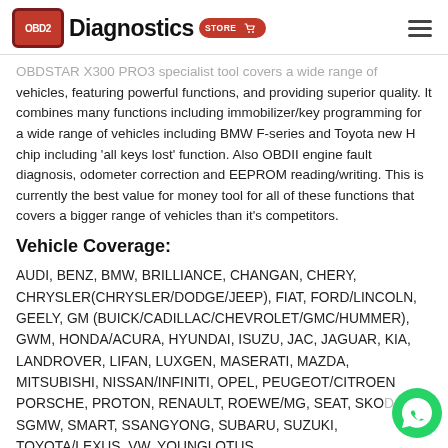OBD2 Diagnostics STORE
OBDSTAR X300 PRO3 specialist tool covers a wide range of vehicles, featuring powerful functions, and providing superior quality. It combines many functions including immobilizer/key programming for a wide range of vehicles including BMW F-series and Toyota new H chip including 'all keys lost' function. Also OBDII engine fault diagnosis, odometer correction and EEPROM reading/writing. This is currently the best value for money tool for all of these functions that covers a bigger range of vehicles than it's competitors.
Vehicle Coverage:
AUDI, BENZ, BMW, BRILLIANCE, CHANGAN, CHERY, CHRYSLER(CHRYSLER/DODGE/JEEP), FIAT, FORD/LINCOLN, GEELY, GM (BUICK/CADILLAC/CHEVROLET/GMC/HUMMER), GWM, HONDA/ACURA, HYUNDAI, ISUZU, JAC, JAGUAR, KIA, LANDROVER, LIFAN, LUXGEN, MASERATI, MAZDA, MITSUBISHI, NISSAN/INFINITI, OPEL, PEUGEOT/CITROEN PORSCHE, PROTON, RENAULT, ROEWE/MG, SEAT, SKODA, SGMW, SMART, SSANGYONG, SUBARU, SUZUKI, TOYOTA/LEXUS, VW, YOUNGLOTUS.